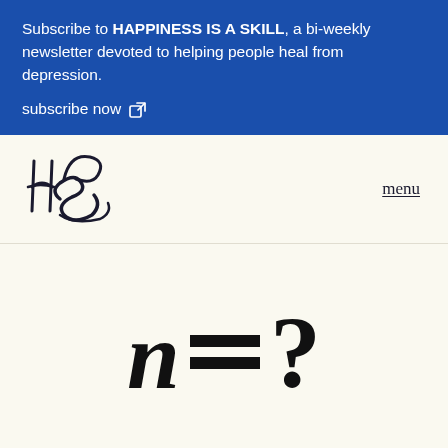Subscribe to HAPPINESS IS A SKILL, a bi-weekly newsletter devoted to helping people heal from depression.

subscribe now ↗
[Figure (logo): Handwritten/scribbly logo of 'HBS' or stylized signature in dark navy ink]
menu